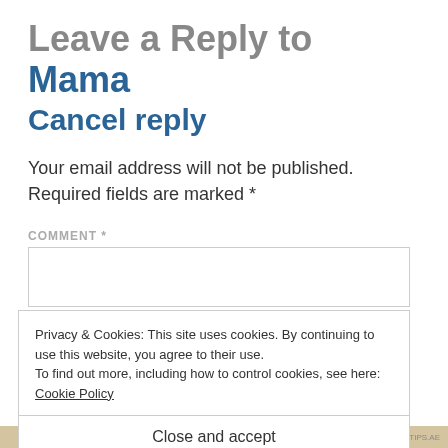Leave a Reply to Mama
Cancel reply
Your email address will not be published. Required fields are marked *
COMMENT *
Privacy & Cookies: This site uses cookies. By continuing to use this website, you agree to their use.
To find out more, including how to control cookies, see here: Cookie Policy
Close and accept